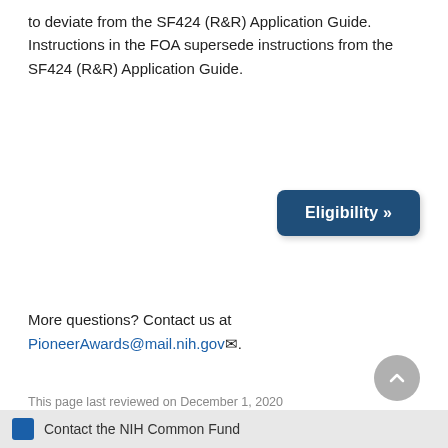to deviate from the SF424 (R&R) Application Guide. Instructions in the FOA supersede instructions from the SF424 (R&R) Application Guide.
[Figure (other): Button labeled 'Eligibility »' with dark blue background and rounded corners]
More questions? Contact us at PioneerAwards@mail.nih.gov.
This page last reviewed on December 1, 2020
Contact the NIH Common Fund